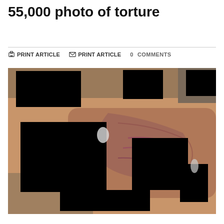55,000 photo of torture
PRINT ARTICLE  PRINT ARTICLE  0 COMMENTS
[Figure (photo): A heavily redacted photograph showing a human body with multiple large black rectangles covering identifying features. The image depicts signs of physical trauma/injury visible on the torso.]